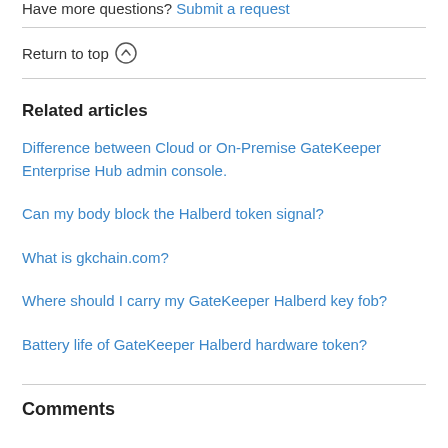Have more questions? Submit a request
Return to top ↑
Related articles
Difference between Cloud or On-Premise GateKeeper Enterprise Hub admin console.
Can my body block the Halberd token signal?
What is gkchain.com?
Where should I carry my GateKeeper Halberd key fob?
Battery life of GateKeeper Halberd hardware token?
Comments